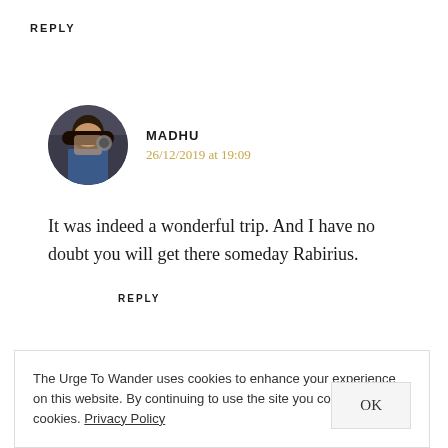REPLY
[Figure (photo): Circular avatar photo of Madhu, a woman with dark hair holding a camera, wearing a blue top]
MADHU
26/12/2019 at 19:09
It was indeed a wonderful trip. And I have no doubt you will get there someday Rabirius.
REPLY
The Urge To Wander uses cookies to enhance your experience on this website. By continuing to use the site you consent to our cookies. Privacy Policy
OK